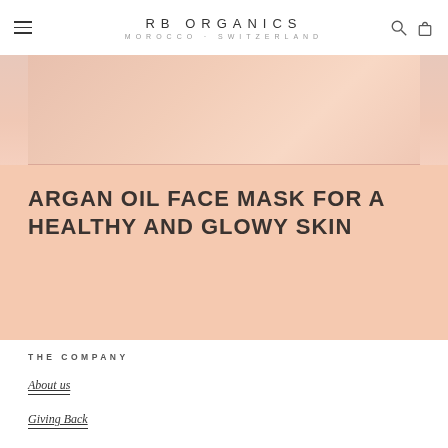RB ORGANICS · MOROCCO · SWITZERLAND
[Figure (photo): Close-up photo of a person's skin/face with a peach-toned background, partially cropped with a peach banner below]
ARGAN OIL FACE MASK FOR A HEALTHY AND GLOWY SKIN
THE COMPANY
About us
Giving Back